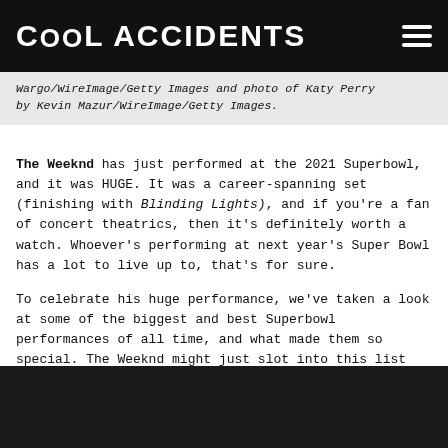Cool Accidents
Wargo/WireImage/Getty Images and photo of Katy Perry by Kevin Mazur/WireImage/Getty Images.
The Weeknd has just performed at the 2021 Superbowl, and it was HUGE. It was a career-spanning set (finishing with Blinding Lights), and if you’re a fan of concert theatrics, then it’s definitely worth a watch. Whoever’s performing at next year’s Super Bowl has a lot to live up to, that’s for sure.
To celebrate his huge performance, we’ve taken a look at some of the biggest and best Superbowl performances of all time, and what made them so special. The Weeknd might just slot into this list after we’ve had a bit of time to digest this performance - there was a lot to discuss!
[Figure (photo): Dark/black image area at the bottom of the page]